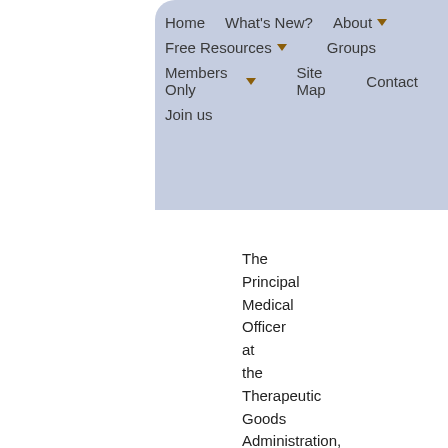Home   What's New?   About   Free Resources   Groups   Members Only   Site Map   Contact   Join us
The Principal Medical Officer at the Therapeutic Goods Administration, Dr John McEwan, says the Australian drug regulator acted on Vioxx with the best knowledge possible